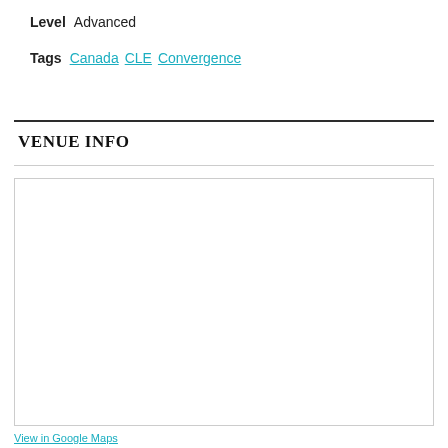Level  Advanced
Tags  Canada  CLE  Convergence
VENUE INFO
[Figure (map): Embedded map area (blank/loading map placeholder)]
View in Google Maps